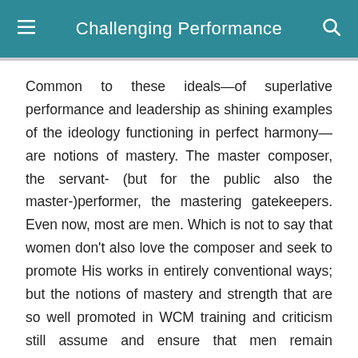Challenging Performance
Common to these ideals—of superlative performance and leadership as shining examples of the ideology functioning in perfect harmony—are notions of mastery. The master composer, the servant- (but for the public also the master-)performer, the mastering gatekeepers. Even now, most are men. Which is not to say that women don't also love the composer and seek to promote His works in entirely conventional ways; but the notions of mastery and strength that are so well promoted in WCM training and criticism still assume and ensure that men remain dominant in positions of power. Women as aspiring professionals are still led to accept a degree of